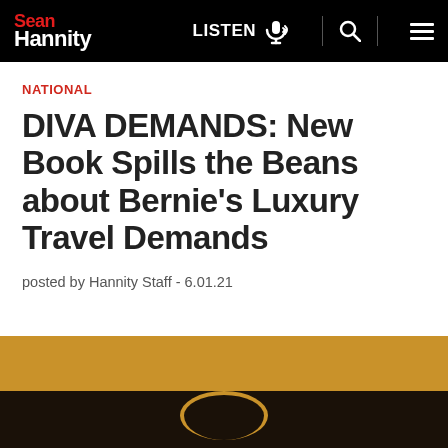Sean Hannity | LISTEN | Search | Menu
NATIONAL
DIVA DEMANDS: New Book Spills the Beans about Bernie’s Luxury Travel Demands
posted by Hannity Staff - 6.01.21
[Figure (photo): Bottom portion of webpage showing a gold/amber colored band at top transitioning to a dark brown/black background with what appears to be the top of a person's head or circular object partially visible]